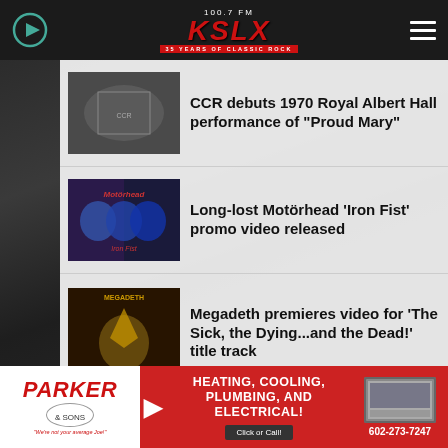100.7 FM KSLX 35 YEARS OF CLASSIC ROCK
CCR debuts 1970 Royal Albert Hall performance of "Proud Mary"
Long-lost Motörhead 'Iron Fist' promo video released
Megadeth premieres video for 'The Sick, the Dying...and the Dead!' title track
[Figure (infographic): Parker & Sons advertisement banner: HEATING, COOLING, PLUMBING, AND ELECTRICAL! Click or Call! 602-273-7247]